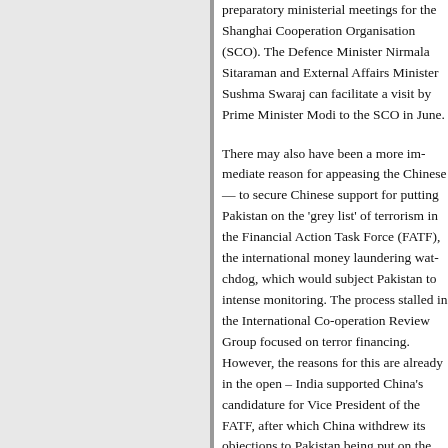preparatory ministerial meetings for the Shanghai Cooperation Organisation (SCO). The Defence Minister Nirmala Sitaraman and External Affairs Minister Sushma Swaraj can facilitate a visit by Prime Minister Modi to the SCO summit in June.
There may also have been a more immediate reason for appeasing the Chinese — to secure Chinese support for putting Pakistan on the 'grey list' of countries financing terrorism in the Financial Action Task Force (FATF), the international money laundering watchdog, which would subject Pakistan to intense monitoring. The process stalled in the International Co-operation Review Group focused on terror financing. However, the reasons for this are already in the open – India supported China's candidacy for Vice President of the FATF, after which China withdrew its objections to Pakistan being put on the 'grey list'.
Could it be that by distancing itself from the Dalai Lama, India hopes that China woul